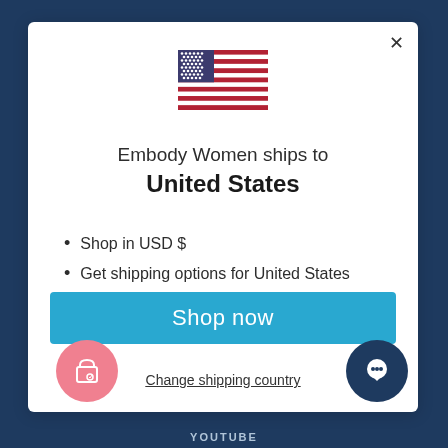[Figure (illustration): US flag emoji/icon displayed at top center of modal]
Embody Women ships to
United States
Shop in USD $
Get shipping options for United States
Shop now
Change shipping country
YOUTUBE